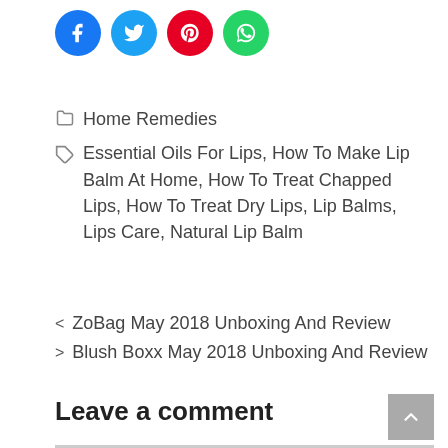[Figure (illustration): Four social media share buttons: Facebook (blue), Twitter (light blue), Pinterest (red), WhatsApp (green)]
Home Remedies
Essential Oils For Lips, How To Make Lip Balm At Home, How To Treat Chapped Lips, How To Treat Dry Lips, Lip Balms, Lips Care, Natural Lip Balm
< ZoBag May 2018 Unboxing And Review
> Blush Boxx May 2018 Unboxing And Review
Leave a comment